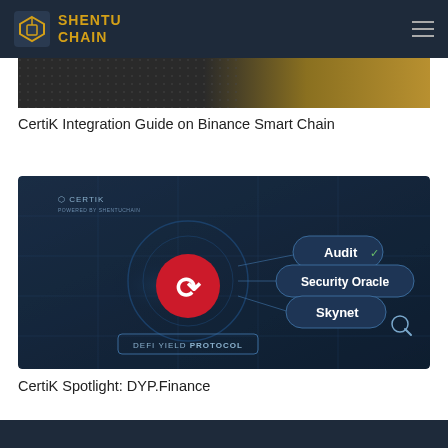SHENTU CHAIN
[Figure (photo): Partial banner image showing a dark patterned background with gold/amber gradient, partially visible at top]
CertiK Integration Guide on Binance Smart Chain
[Figure (photo): CertiK promotional graphic showing DYP (DeFi Yield Protocol) logo in red on a dark blue tech-themed background, with labels: Audit, Security Oracle, Skynet. CERTIK logo in top left. Text at bottom: DEFI YIELD PROTOCOL]
CertiK Spotlight: DYP.Finance